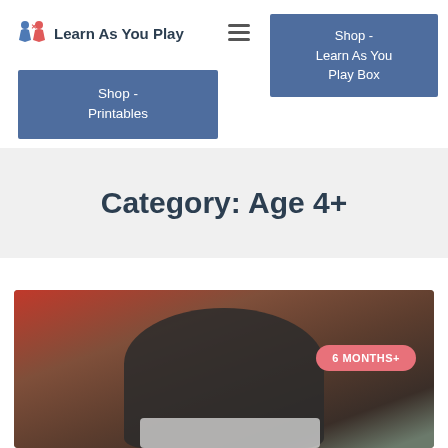Learn As You Play
Shop - Learn As You Play Box
Shop - Printables
Category: Age 4+
[Figure (photo): A young child sitting outdoors on a red/brick surface, wearing a dark jacket, looking down at something in front of them. A badge overlay reads '6 MONTHS+'.]
6 MONTHS+